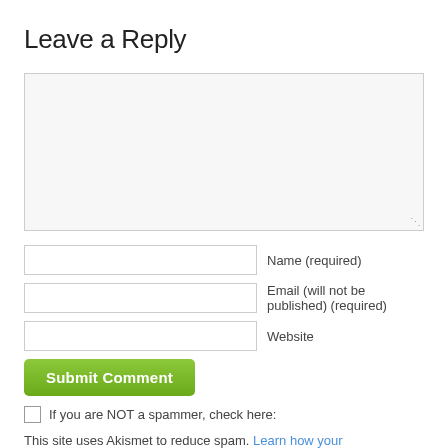Leave a Reply
[Figure (screenshot): Comment textarea input box, light gray background with resize handle at bottom right]
Name (required)
Email (will not be published) (required)
Website
Submit Comment
If you are NOT a spammer, check here:
This site uses Akismet to reduce spam. Learn how your